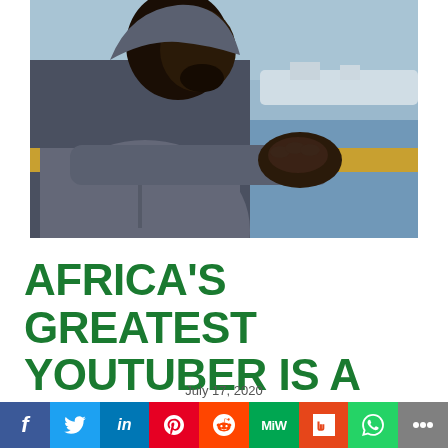[Figure (photo): A young Black man in a grey hoodie leaning forward with clasped hands, looking sideways, with water and white cliffs in the background]
AFRICA'S GREATEST YOUTUBER IS A NIGERIAN
July 17, 2020
f  Twitter  in  Pinterest  Reddit  MiW  Mix  WhatsApp  More